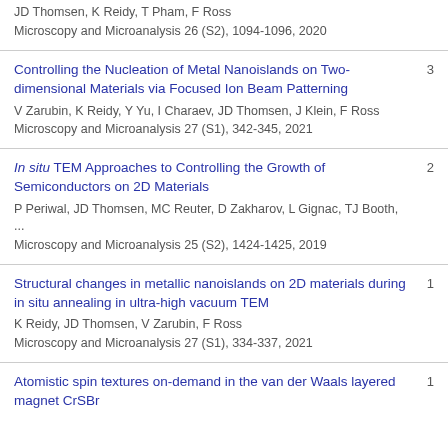JD Thomsen, K Reidy, T Pham, F Ross
Microscopy and Microanalysis 26 (S2), 1094-1096, 2020
Controlling the Nucleation of Metal Nanoislands on Two-dimensional Materials via Focused Ion Beam Patterning
V Zarubin, K Reidy, Y Yu, I Charaev, JD Thomsen, J Klein, F Ross
Microscopy and Microanalysis 27 (S1), 342-345, 2021
3
In situ TEM Approaches to Controlling the Growth of Semiconductors on 2D Materials
P Periwal, JD Thomsen, MC Reuter, D Zakharov, L Gignac, TJ Booth, ...
Microscopy and Microanalysis 25 (S2), 1424-1425, 2019
2
Structural changes in metallic nanoislands on 2D materials during in situ annealing in ultra-high vacuum TEM
K Reidy, JD Thomsen, V Zarubin, F Ross
Microscopy and Microanalysis 27 (S1), 334-337, 2021
1
Atomistic spin textures on-demand in the van der Waals layered magnet CrSBr
1